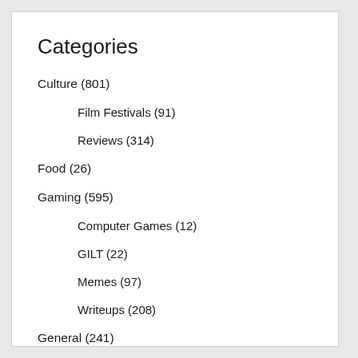Categories
Culture (801)
Film Festivals (91)
Reviews (314)
Food (26)
Gaming (595)
Computer Games (12)
GILT (22)
Memes (97)
Writeups (208)
General (241)
Navel-Gazing (112)